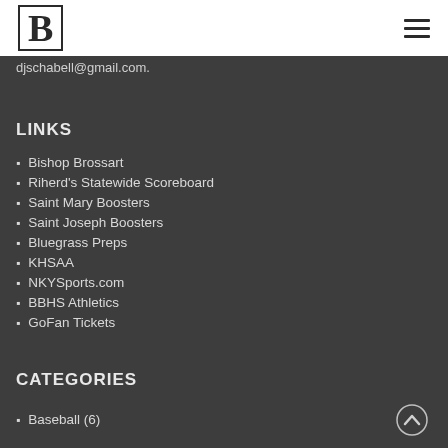B [logo] [hamburger menu]
djschabell@gmail.com.
LINKS
Bishop Brossart
Riherd's Statewide Scoreboard
Saint Mary Boosters
Saint Joseph Boosters
Bluegrass Preps
KHSAA
NKYSports.com
BBHS Athletics
GoFan Tickets
CATEGORIES
Baseball (6)